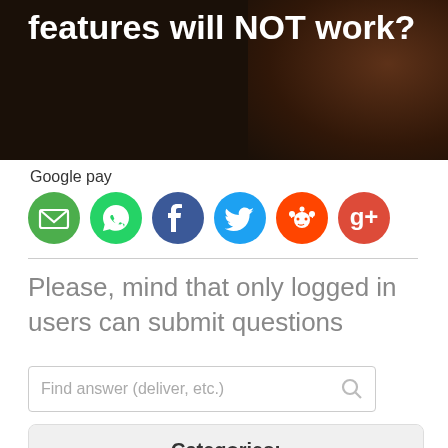[Figure (photo): Dark hero image with white bold text reading 'features will NOT work?' overlaid, with dark brownish blurry food/object image on the right side]
Google pay
[Figure (infographic): Row of 6 social share icon circles: email (green), WhatsApp (green), Facebook (blue), Twitter (light blue), Reddit (red), Google+ (red)]
Please, mind that only logged in users can submit questions
Find answer (deliver, etc.)
Categories:
Mobile
Global Version Rom